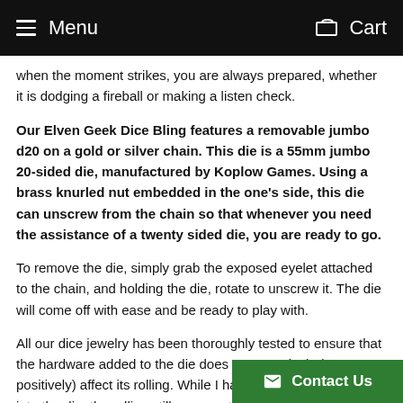Menu | Cart
when the moment strikes, you are always prepared, whether it is dodging a fireball or making a listen check.
Our Elven Geek Dice Bling features a removable jumbo d20 on a gold or silver chain. This die is a 55mm jumbo 20-sided die, manufactured by Koplow Games. Using a brass knurled nut embedded in the one's side, this die can unscrew from the chain so that whenever you need the assistance of a twenty sided die, you are ready to go.
To remove the die, simply grab the exposed eyelet attached to the chain, and holding the die, rotate to unscrew it. The die will come off with ease and be ready to play with.
All our dice jewelry has been thoroughly tested to ensure that the hardware added to the die does not negatively (or positively) affect its rolling. While I have inserted hardware into the die, the rolling still appears to be stati